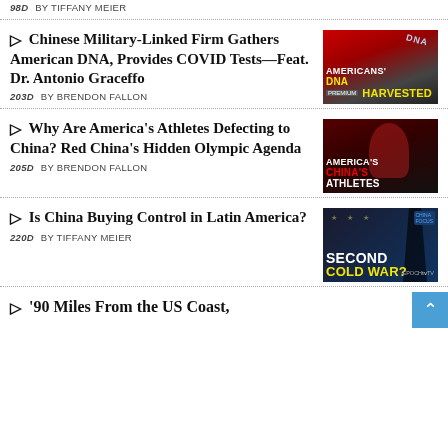98D  BY TIFFANY MEIER
Chinese Military-Linked Firm Gathers American DNA, Provides COVID Tests—Feat. Dr. Antonio Graceffo
[Figure (photo): Thumbnail image with red/dark background showing DNA test imagery with text 'AMERICANS\' DNA HARVESTED' and 'PREMIUM' label]
203D  BY BRENDON FALLON
Why Are America's Athletes Defecting to China? Red China's Hidden Olympic Agenda
[Figure (photo): Thumbnail showing person with text 'AMERICA'S CHINA'S ATHLETES' in red and white]
205D  BY BRENDON FALLON
Is China Buying Control in Latin America?
[Figure (photo): Thumbnail showing flags with text 'SECOND COLD WAR?' and EpochTV logo]
220D  BY TIFFANY MEIER
'90 Miles From the US Coast,